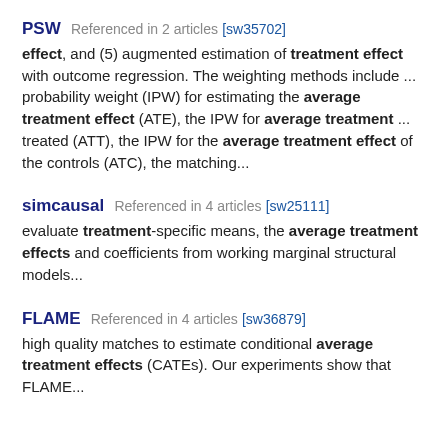PSW  Referenced in 2 articles [sw35702]
effect, and (5) augmented estimation of treatment effect with outcome regression. The weighting methods include ... probability weight (IPW) for estimating the average treatment effect (ATE), the IPW for average treatment ... treated (ATT), the IPW for the average treatment effect of the controls (ATC), the matching...
simcausal  Referenced in 4 articles [sw25111]
evaluate treatment-specific means, the average treatment effects and coefficients from working marginal structural models...
FLAME  Referenced in 4 articles [sw36879]
high quality matches to estimate conditional average treatment effects (CATEs). Our experiments show that FLAME...